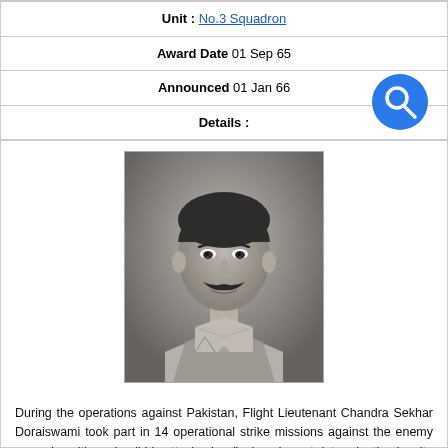| Unit : | No.3 Squadron |
| Award Date | 01 Sep 65 |
| Announced | 01 Jan 66 |
| Details : |  |
[Figure (photo): Black and white portrait photograph of Flight Lieutenant Chandra Sekhar Doraiswami in military uniform]
During the operations against Pakistan, Flight Lieutenant Chandra Sekhar Doraiswami took part in 14 operational strike missions against the enemy ground positions. In all his attacks, he displayed great determination inspite of heavy ground fire and enemy air opposition. Twice his aircraft was hit by enemy ground fire and damaged severely. Instead of returning to base, Flight Lieutenant Doraiswami continued on each occasion to press home his attacks in complete disregard of his personal safety and inflicted considerable damage on enemy armour and troops concentrations.
Throughout the operations, Flight Lieutenant Chandra Sekhar Doraiswami